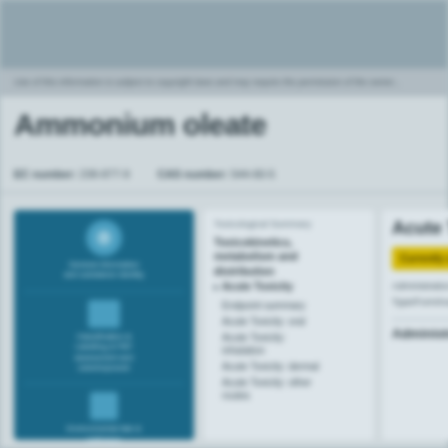Use of this information is subject to copyright laws and may require the permission...
Ammonium oleate
EC number: 238-877-9   CAS number: 544-60-5
[Figure (infographic): Blue panel with icons for general information, classification & labelling & PBT assessment, and regulatory uses]
Toxicological Summary
Toxicokinetics, metabolism and distribution
Acute Toxicity
Endpoint summary
Acute Toxicity: oral
Acute Toxicity: inhalation
Acute Toxicity: dermal
Acute Toxicity: other routes
Acute Toxi...
Currently under...
Administration r...
Type/Form/route...
Administrat...